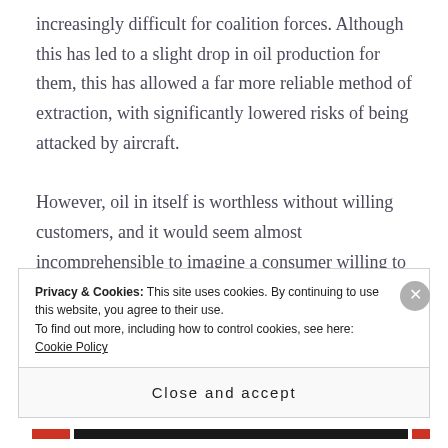increasingly difficult for coalition forces. Although this has led to a slight drop in oil production for them, this has allowed a far more reliable method of extraction, with significantly lowered risks of being attacked by aircraft.

However, oil in itself is worthless without willing customers, and it would seem almost incomprehensible to imagine a consumer willing to conduct business with an
Privacy & Cookies: This site uses cookies. By continuing to use this website, you agree to their use.
To find out more, including how to control cookies, see here: Cookie Policy
Close and accept